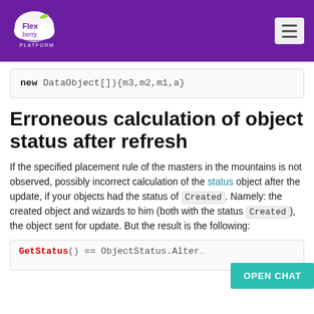Flexberry Platform
Erroneous calculation of object status after refresh
If the specified placement rule of the masters in the mountains is not observed, possibly incorrect calculation of the status object after the update, if your objects had the status of Created. Namely: the created object and wizards to him (both with the status Created), the object sent for update. But the result is the following: